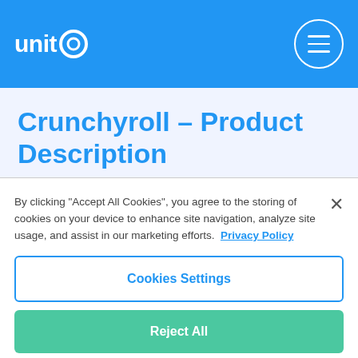unit@ [logo] [hamburger menu]
Crunchyroll – Product Description
By clicking "Accept All Cookies", you agree to the storing of cookies on your device to enhance site navigation, analyze site usage, and assist in our marketing efforts.  Privacy Policy
Cookies Settings
Reject All
Accept All Cookies